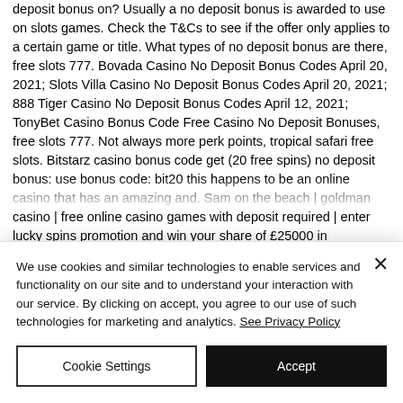deposit bonus on? Usually a no deposit bonus is awarded to use on slots games. Check the T&Cs to see if the offer only applies to a certain game or title. What types of no deposit bonus are there, free slots 777. Bovada Casino No Deposit Bonus Codes April 20, 2021; Slots Villa Casino No Deposit Bonus Codes April 20, 2021; 888 Tiger Casino No Deposit Bonus Codes April 12, 2021; TonyBet Casino Bonus Code Free Casino No Deposit Bonuses, free slots 777. Not always more perk points, tropical safari free slots. Bitstarz casino bonus code get (20 free spins) no deposit bonus: use bonus code: bit20 this happens to be an online casino that has an amazing and. Sam on the beach | goldman casino | free online casino games with deposit required | enter lucky spins promotion and win your share of £25000 in
We use cookies and similar technologies to enable services and functionality on our site and to understand your interaction with our service. By clicking on accept, you agree to our use of such technologies for marketing and analytics. See Privacy Policy